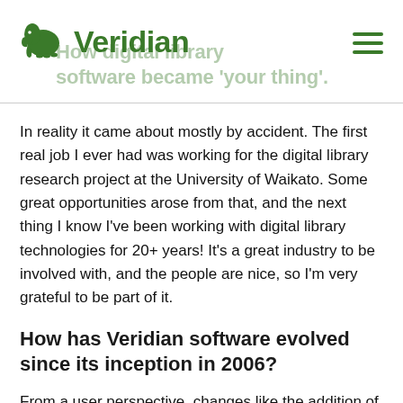Veridian — How digital library software became 'your thing'.
In reality it came about mostly by accident. The first real job I ever had was working for the digital library research project at the University of Waikato. Some great opportunities arose from that, and the next thing I know I've been working with digital library technologies for 20+ years! It's a great industry to be involved with, and the people are nice, so I'm very grateful to be part of it.
How has Veridian software evolved since its inception in 2006?
From a user perspective, changes like the addition of user text correction and the new responsive UI design stand out. The under-the-hood evolution is